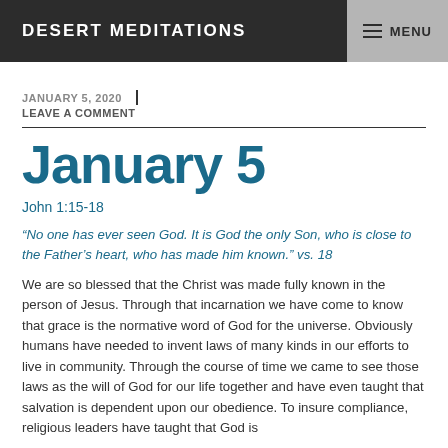DESERT MEDITATIONS   MENU
JANUARY 5, 2020
LEAVE A COMMENT
January 5
John 1:15-18
“No one has ever seen God. It is God the only Son, who is close to the Father’s heart, who has made him known.” vs. 18
We are so blessed that the Christ was made fully known in the person of Jesus. Through that incarnation we have come to know that grace is the normative word of God for the universe. Obviously humans have needed to invent laws of many kinds in our efforts to live in community. Through the course of time we came to see those laws as the will of God for our life together and have even taught that salvation is dependent upon our obedience. To insure compliance, religious leaders have taught that God is